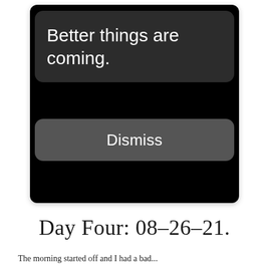[Figure (screenshot): Mobile app screenshot showing a dark dialog box with white text 'Better things are coming.' and a gray 'Dismiss' button below it, on a black background.]
Day Four: 08-26-21.
The morning started off and I had a bad...